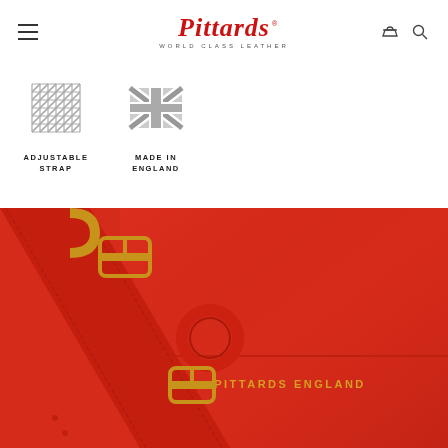Pittards World Class Leather
[Figure (illustration): Adjustable strap icon - crosshatch pattern grid]
ADJUSTABLE STRAP
[Figure (illustration): Made in England icon - Union Jack flag]
MADE IN ENGLAND
[Figure (photo): Close-up photo of a red leather Pittards crossbody bag with gold buckles and 'PITTARDS ENGLAND' embossed text]